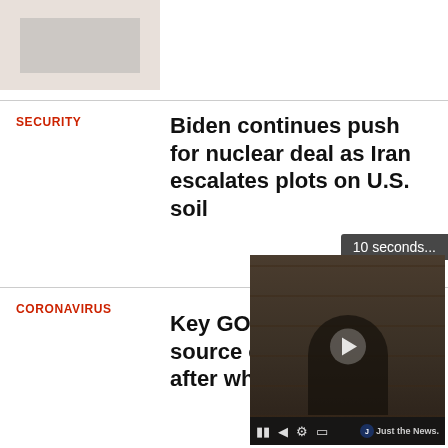[Figure (photo): Partial news article thumbnail image at top left]
SECURITY
Biden continues push for nuclear deal as Iran escalates plots on U.S. soil
CORONAVIRUS
Key GOP source o after wh
[Figure (screenshot): Video player overlay showing a person at a desk with shelves, play button visible, controls bar at bottom with pause, rewind, settings, and fullscreen icons, Just the News logo at right. Time tooltip shows '10 seconds...']